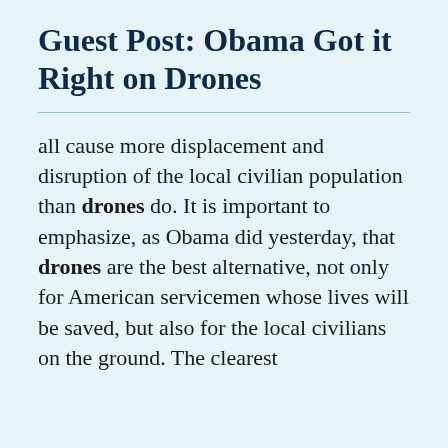Guest Post: Obama Got it Right on Drones
all cause more displacement and disruption of the local civilian population than drones do. It is important to emphasize, as Obama did yesterday, that drones are the best alternative, not only for American servicemen whose lives will be saved, but also for the local civilians on the ground. The clearest